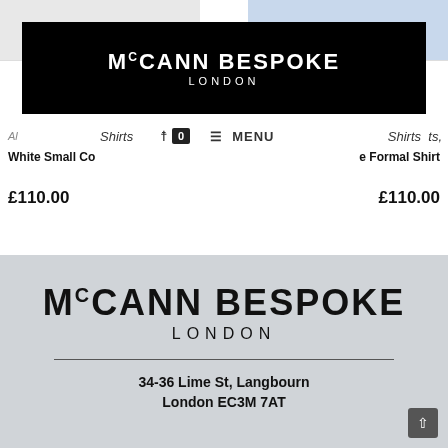[Figure (screenshot): Top portion of two shirt product images: white shirt on left, blue shirt on right, partially visible]
McCANN BESPOKE LONDON
All  Shirts  0  MENU  Shirts
White Small Co  e Formal Shirt
£110.00  £110.00
McCANN BESPOKE LONDON
34-36 Lime St, Langbourn
London EC3M 7AT